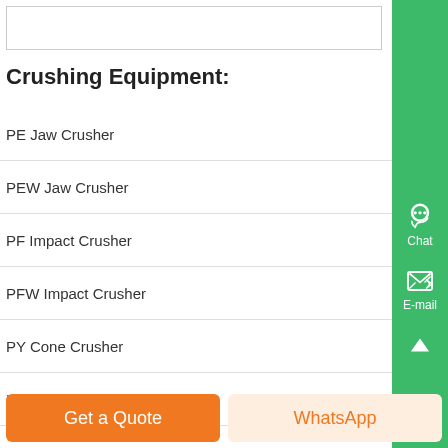Crushing Equipment:
PE Jaw Crusher
PEW Jaw Crusher
PF Impact Crusher
PFW Impact Crusher
PY Cone Crusher
HJ Series Jaw Crusher